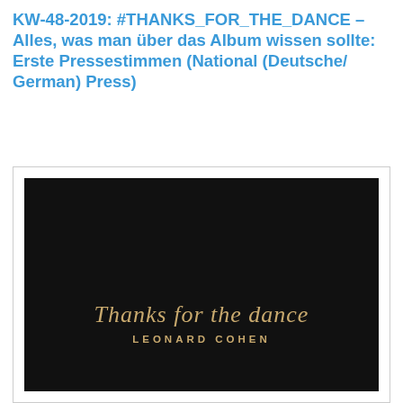KW-48-2019: #THANKS_FOR_THE_DANCE – Alles, was man über das Album wissen sollte: Erste Pressestimmen (National (Deutsche/ German) Press)
[Figure (photo): Album cover of Leonard Cohen's 'Thanks for the Dance' — black background with golden cursive script reading 'Thanks for the dance' and below it in small caps 'LEONARD COHEN']